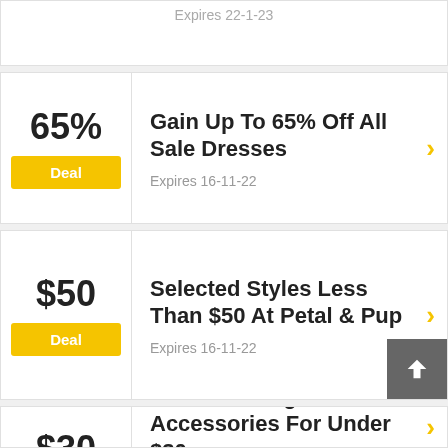Expires 22-1-23
65%
Deal
Gain Up To 65% Off All Sale Dresses
Expires 16-11-22
$50
Deal
Selected Styles Less Than $50 At Petal & Pup
Expires 16-11-22
$30
Grab Clothing & Accessories For Under $30